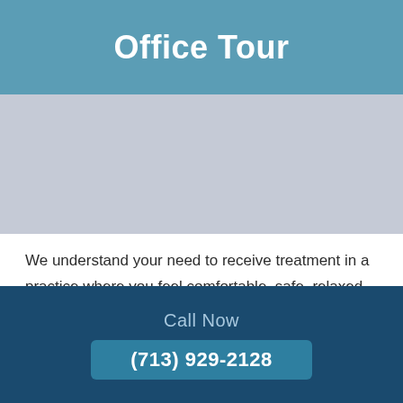Office Tour
[Figure (photo): Light blue-grey placeholder image area representing an office photo]
We understand your need to receive treatment in a practice where you feel comfortable, safe, relaxed, and welcomed. Please feel free to contact us to schedule an appointment, or stop by for a complete
Call Now
(713) 929-2128